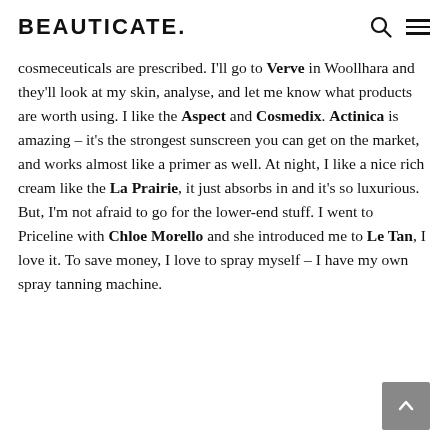BEAUTICATE.
cosmeceuticals are prescribed. I'll go to Verve in Woollhara and they'll look at my skin, analyse, and let me know what products are worth using. I like the Aspect and Cosmedix. Actinica is amazing – it's the strongest sunscreen you can get on the market, and works almost like a primer as well. At night, I like a nice rich cream like the La Prairie, it just absorbs in and it's so luxurious. But, I'm not afraid to go for the lower-end stuff. I went to Priceline with Chloe Morello and she introduced me to Le Tan, I love it. To save money, I love to spray myself – I have my own spray tanning machine.